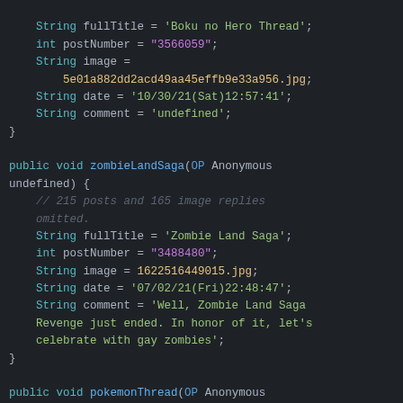[Figure (screenshot): Syntax-highlighted code snippet showing Java/pseudocode variable assignments and method definitions for forum thread data including fullTitle, postNumber, image, date, and comment fields for Boku no Hero Thread, zombieLandSaga, and pokemonThread functions.]